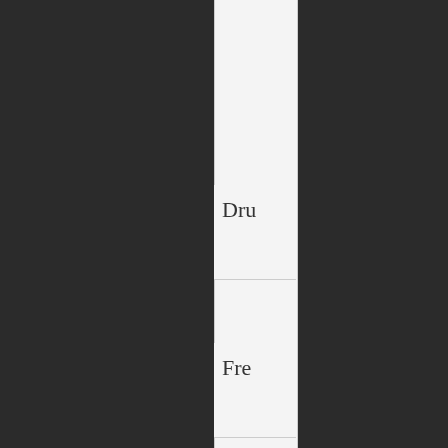[Figure (screenshot): Website screenshot showing a narrow white content column in the center with partially visible text entries 'Dru', 'Fre', and '6' in table rows, against a dark gray background. A cookie consent overlay banner is visible in the lower portion of the page.]
This website uses cookies to ensure you get the best experience on our website.
Learn more
Got it!